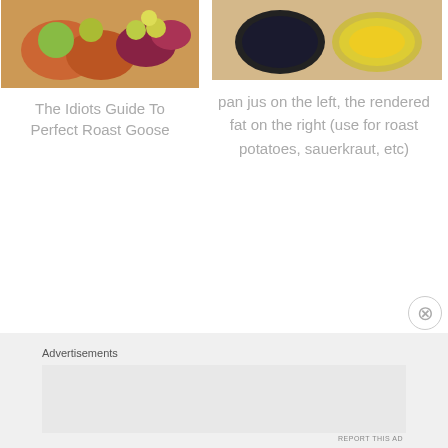[Figure (photo): Food photo on left showing roast goose dish with colorful accompaniments including vegetables and garnish]
The Idiots Guide To Perfect Roast Goose
[Figure (photo): Two bowls on right showing pan jus (dark liquid) on the left and rendered fat (golden liquid) on the right]
pan jus on the left, the rendered fat on the right (use for roast potatoes, sauerkraut, etc)
Advertisements
[Figure (screenshot): Advertisement banner for P2 app with dark background reading 'Fewer meetings, more work.']
REPORT THIS AD
Advertisements
REPORT THIS AD